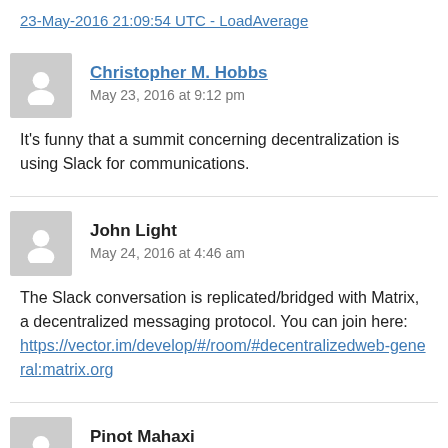23-May-2016 21:09:54 UTC - LoadAverage
Christopher M. Hobbs
May 23, 2016 at 9:12 pm
It's funny that a summit concerning decentralization is using Slack for communications.
John Light
May 24, 2016 at 4:46 am
The Slack conversation is replicated/bridged with Matrix, a decentralized messaging protocol. You can join here: https://vector.im/develop/#/room/#decentralizedweb-general:matrix.org
Pinot Mahaxi
May 23, 2016 at 10:14 pm